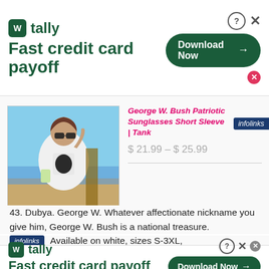[Figure (infographic): Tally app advertisement banner: 'Fast credit card payoff' with Download Now button]
[Figure (photo): Woman wearing a George W. Bush patriotic sunglasses t-shirt, sitting outdoors]
George W. Bush Patriotic Sunglasses Short Sleeve | Tank
$ 21.99 – $ 25.99
43. Dubya. George W. Whatever affectionate nickname you give him, George W. Bush is a national treasure.
Available on white, sizes S-3XL,
[Figure (infographic): Tally app advertisement banner (bottom): 'Fast credit card payoff' with Download Now button]